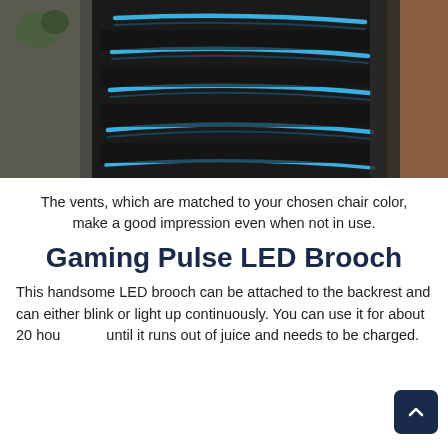[Figure (photo): Close-up photo of a gaming chair backrest showing black material with blue LED accent stripes/vents running horizontally across the surface.]
The vents, which are matched to your chosen chair color, make a good impression even when not in use.
Gaming Pulse LED Brooch
This handsome LED brooch can be attached to the backrest and can either blink or light up continuously. You can use it for about 20 hours until it runs out of juice and needs to be charged.